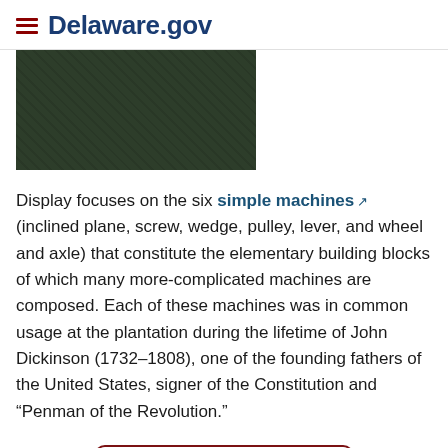Delaware.gov
[Figure (photo): Dark green textured surface, likely grass or foliage, cropped image at the top of the page]
Display focuses on the six simple machines (inclined plane, screw, wedge, pulley, lever, and wheel and axle) that constitute the elementary building blocks of which many more-complicated machines are composed. Each of these machines was in common usage at the plantation during the lifetime of John Dickinson (1732–1808), one of the founding fathers of the United States, signer of the Constitution and “Penman of the Revolution.”